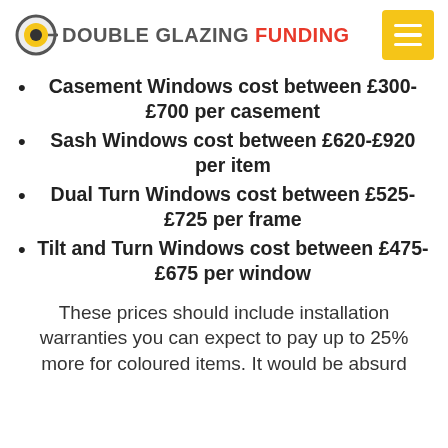[Figure (logo): Double Glazing Funding logo with icon and hamburger menu button]
Casement Windows cost between £300-£700 per casement
Sash Windows cost between £620-£920 per item
Dual Turn Windows cost between £525-£725 per frame
Tilt and Turn Windows cost between £475-£675 per window
These prices should include installation warranties you can expect to pay up to 25% more for coloured items. It would be absurd